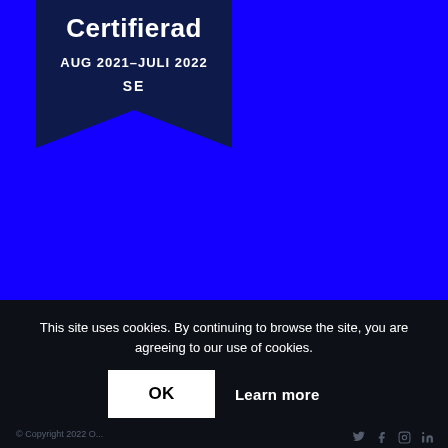[Figure (logo): Dark navy ribbon/badge shape with text: Certifierad, AUG 2021–JULI 2022, SE]
This site uses cookies. By continuing to browse the site, you are agreeing to our use of cookies.
OK   Learn more
© Copyright 2022 O...